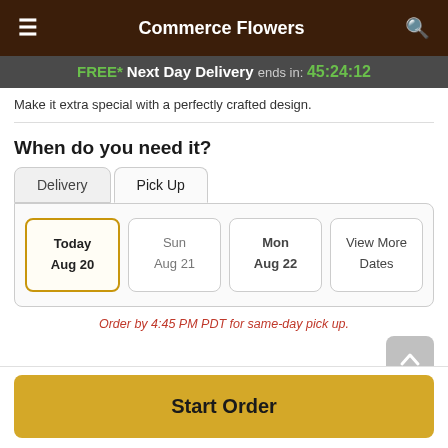Commerce Flowers
FREE* Next Day Delivery ends in: 45:24:12
Make it extra special with a perfectly crafted design.
When do you need it?
Delivery | Pick Up
Today Aug 20 | Sun Aug 21 | Mon Aug 22 | View More Dates
Order by 4:45 PM PDT for same-day pick up.
Start Order